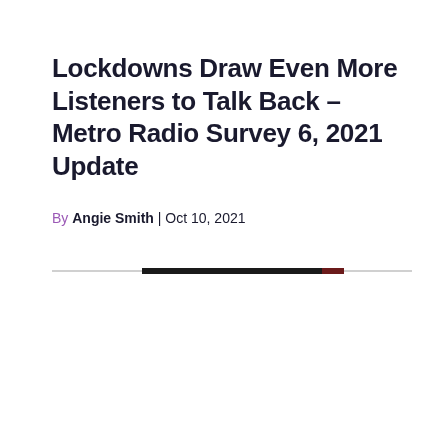Lockdowns Draw Even More Listeners to Talk Back – Metro Radio Survey 6, 2021 Update
By Angie Smith | Oct 10, 2021
[Figure (other): A horizontal divider line with a dark/gradient segment in the center, flanked by lighter gray segments on each side.]